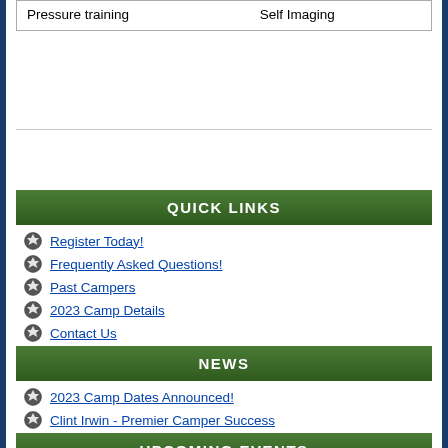| Pressure training | Self Imaging |
QUICK LINKS
Register Today!
Frequently Asked Questions!
Past Campers
2023 Camp Details
Contact Us
NEWS
2023 Camp Dates Announced!
Clint Irwin - Premier Camper Success
UPCOMING EVENTS
There are no events at this time.